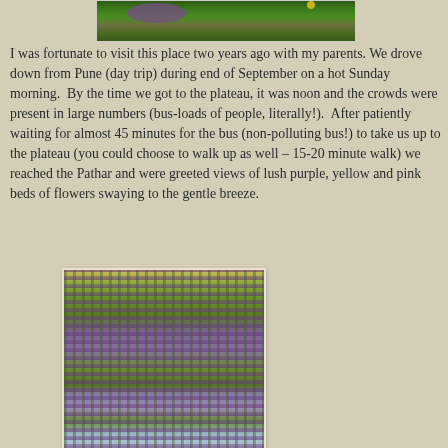[Figure (photo): Partial top view of wildflowers including purple flowers and green foliage on a plateau]
I was fortunate to visit this place two years ago with my parents. We drove down from Pune (day trip) during end of September on a hot Sunday morning.  By the time we got to the plateau, it was noon and the crowds were present in large numbers (bus-loads of people, literally!).  After patiently waiting for almost 45 minutes for the bus (non-polluting bus!) to take us up to the plateau (you could choose to walk up as well – 15-20 minute walk) we reached the Pathar and were greeted views of lush purple, yellow and pink beds of flowers swaying to the gentle breeze.
[Figure (photo): Dense field of purple wildflowers and green vegetation on a plateau with water visible at the bottom]